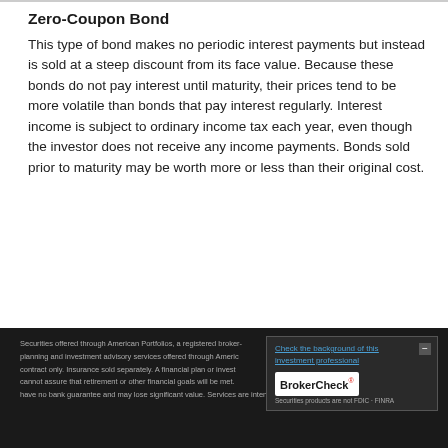Zero-Coupon Bond
This type of bond makes no periodic interest payments but instead is sold at a steep discount from its face value. Because these bonds do not pay interest until maturity, their prices tend to be more volatile than bonds that pay interest regularly. Interest income is subject to ordinary income tax each year, even though the investor does not receive any income payments. Bonds sold prior to maturity may be worth more or less than their original cost.
Securities offered through American Portfolios, a registered broker-dealer planning and investment advisory services offered through American Portfolios Advisors (APA) by contract only. Insurance sold separately. A financial plan or investment cannot assure that retirement or other financial goals will be met. Securities products are not FDIC, FINRA have no bank guarantee and may lose significant value. Services are intended for individuals residing in the